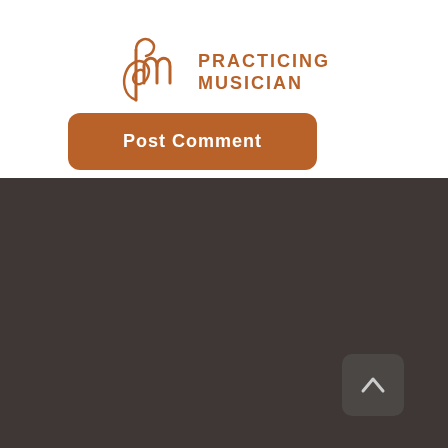[Figure (logo): Practicing Musician logo with stylized 'pm' musical note icon in brown/rust color and text 'PRACTICING MUSICIAN' in uppercase brown letters]
Post Comment
[Figure (other): Dark brown/charcoal footer section with a scroll-to-top button (caret up icon) in the bottom right corner]